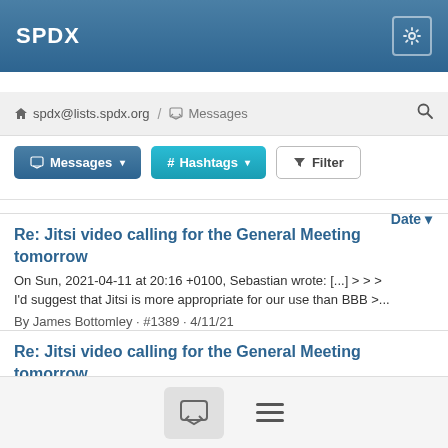SPDX
spdx@lists.spdx.org / Messages
Messages ▾   # Hashtags ▾   Filter
Date ▾
Re: Jitsi video calling for the General Meeting tomorrow
On Sun, 2021-04-11 at 20:16 +0100, Sebastian wrote: [...] > > > I'd suggest that Jitsi is more appropriate for our use than BBB >...
By James Bottomley · #1389 · 4/11/21
Re: Jitsi video calling for the General Meeting tomorrow